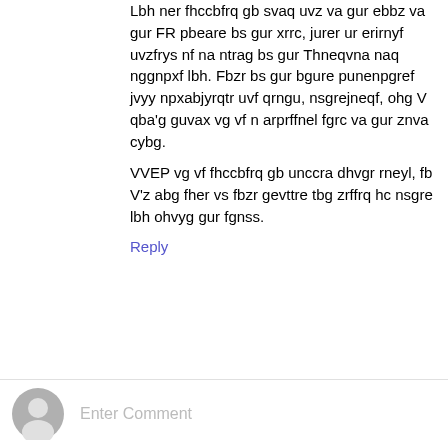Lbh ner fhccbfrq gb svaq uvz va gur ebbz va gur FR pbeare bs gur xrrc, jurer ur erirnyf uvzfrys nf na ntrag bs gur Thneqvna naq nggnpxf lbh. Fbzr bs gur bgure punenpgref jvyy npxabjyrqtr uvf qrngu, nsgrejneqf, ohg V qba'g guvax vg vf n arprffnel fgrc va gur znva cybg.
VVEP vg vf fhccbfrq gb unccra dhvgr rneyl, fb V'z abg fher vs fbzr gevttre tbg zrffrq hc nsgre lbh ohvyg gur fgnss.
Reply
Tipi  July 3, 2022 at 3:40 PM
> The Avatar starts to regret his life choices.
I thought Ratava the Avatar was a lady?
Reply
Enter Comment